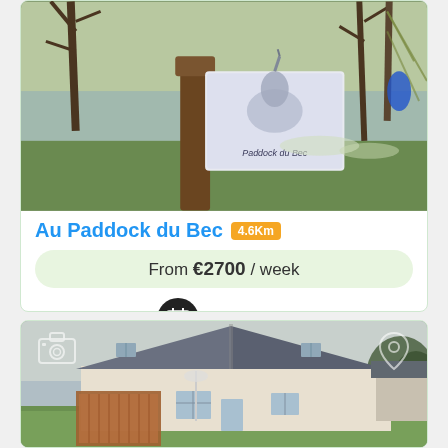[Figure (photo): Photo of a garden/outdoor scene with trees, a wooden post, and a sign with a horse illustration reading 'Au Paddock du Bec', with a river/lake in the background]
Au Paddock du Bec 4.6Km
From €2700 / week
Book Now
[Figure (photo): Photo of a single-story French house with a grey tiled roof, white rendered walls, a wooden fence/gate structure on the left, and a green lawn in front. Camera and location pin icons visible.]